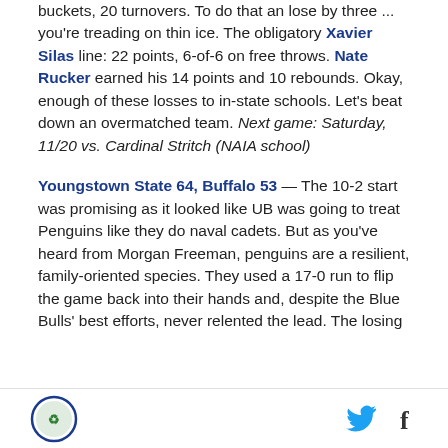buckets, 20 turnovers. To do that an lose by three ... you're treading on thin ice. The obligatory Xavier Silas line: 22 points, 6-of-6 on free throws. Nate Rucker earned his 14 points and 10 rebounds. Okay, enough of these losses to in-state schools. Let's beat down an overmatched team. Next game: Saturday, 11/20 vs. Cardinal Stritch (NAIA school)
Youngstown State 64, Buffalo 53 — The 10-2 start was promising as it looked like UB was going to treat Penguins like they do naval cadets. But as you've heard from Morgan Freeman, penguins are a resilient, family-oriented species. They used a 17-0 run to flip the game back into their hands and, despite the Blue Bulls' best efforts, never relented the lead. The losing